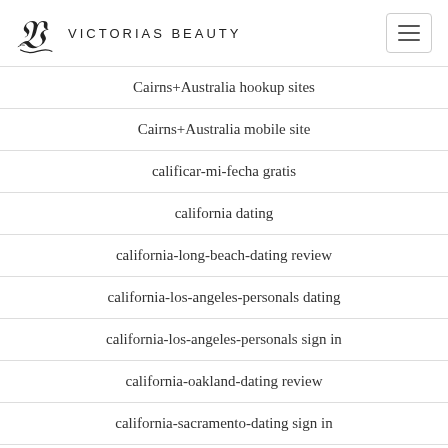Victorias Beauty
Cairns+Australia hookup sites
Cairns+Australia mobile site
calificar-mi-fecha gratis
california dating
california-long-beach-dating review
california-los-angeles-personals dating
california-los-angeles-personals sign in
california-oakland-dating review
california-sacramento-dating sign in